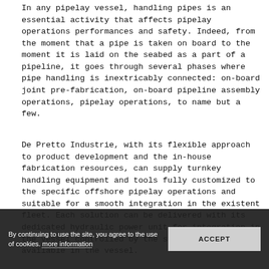In any pipelay vessel, handling pipes is an essential activity that affects pipelay operations performances and safety. Indeed, from the moment that a pipe is taken on board to the moment it is laid on the seabed as a part of a pipeline, it goes through several phases where pipe handling is inextricably connected: on-board joint pre-fabrication, on-board pipeline assembly operations, pipelay operations, to name but a few.
De Pretto Industrie, with its flexible approach to product development and the in-house fabrication resources, can supply turnkey handling equipment and tools fully customized to the specific offshore pipelay operations and suitable for a smooth integration in the existent fleet. Each solution can be delivered with its dedicated hydraulic power unit for integration in the vessel controlled by the systems already available in the vessel.
By continuing to use the site, you agree to the use of cookies. more information [ACCEPT]